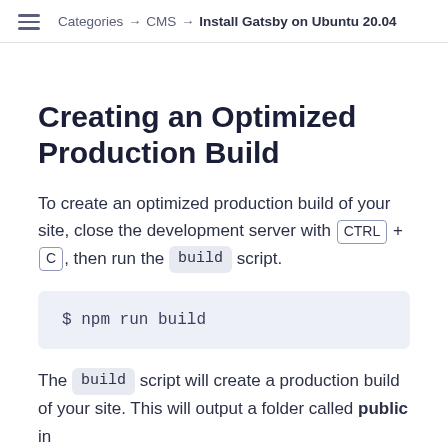Categories → CMS → Install Gatsby on Ubuntu 20.04
Creating an Optimized Production Build
To create an optimized production build of your site, close the development server with CTRL + C, then run the build script.
$ npm run build
The build script will create a production build of your site. This will output a folder called public in